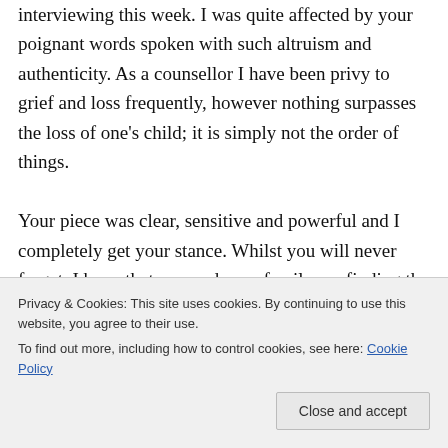interviewing this week. I was quite affected by your poignant words spoken with such altruism and authenticity. As a counsellor I have been privy to grief and loss frequently, however nothing surpasses the loss of one's child; it is simply not the order of things. Your piece was clear, sensitive and powerful and I completely get your stance. Whilst you will never forget, I hope that you and your family are finding the strength to move forward as Polly
Privacy & Cookies: This site uses cookies. By continuing to use this website, you agree to their use.
To find out more, including how to control cookies, see here: Cookie Policy
Close and accept